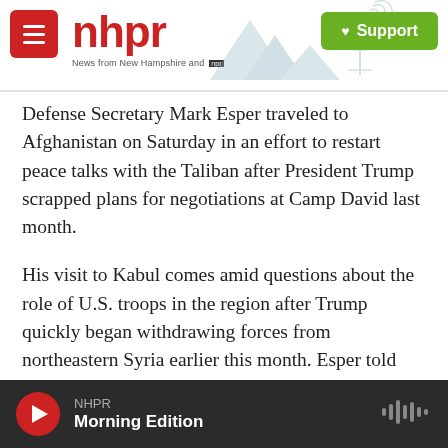nhpr — News from New Hampshire and NPR — Support
Defense Secretary Mark Esper traveled to Afghanistan on Saturday in an effort to restart peace talks with the Taliban after President Trump scrapped plans for negotiations at Camp David last month.
His visit to Kabul comes amid questions about the role of U.S. troops in the region after Trump quickly began withdrawing forces from northeastern Syria earlier this month. Esper told reporters traveling with him that those U.S. troops leaving Syria will go to western Iraq to help in the fight against the
NHPR — Morning Edition